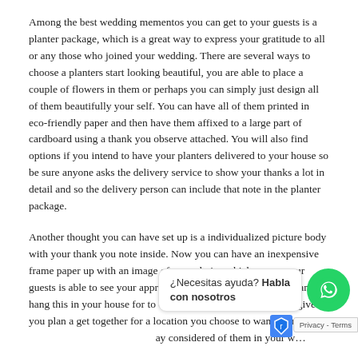Among the best wedding mementos you can get to your guests is a planter package, which is a great way to express your gratitude to all or any those who joined your wedding. There are several ways to choose a planters start looking beautiful, you are able to place a couple of flowers in them or perhaps you can simply just design all of them beautifully your self. You can have all of them printed in eco-friendly paper and then have them affixed to a large part of cardboard using a thank you observe attached. You will also find options if you intend to have your planters delivered to your house so be sure anyone asks the delivery service to show your thanks a lot in detail and so the delivery person can include that note in the planter package.
Another thought you can have set up is a individualized picture body with your thank you note inside. Now you can have an inexpensive frame paper up with an image of your choice which means your guests is able to see your appreciation and you can structure it and hang this in your house for to enjoy. Also this is a great opt to give as you plan a get together for a location you choose to want everyone to [¿Necesitas ayuda? Habla con nosotros] ay... considered of them in your w...
One other wedding like that will definitely be appreciated by simply all your guests is a mini bottle of champagne. Bubbly is a